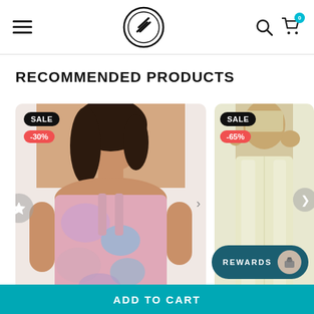Navigation header with hamburger menu, logo, search and cart icons
RECOMMENDED PRODUCTS
[Figure (photo): Product card showing a woman wearing a tie-dye crop top, with SALE and -30% badges]
[Figure (photo): Product card showing a woman wearing light-colored athletic leggings, with SALE and -65% badges]
ADD TO CART
REWARDS